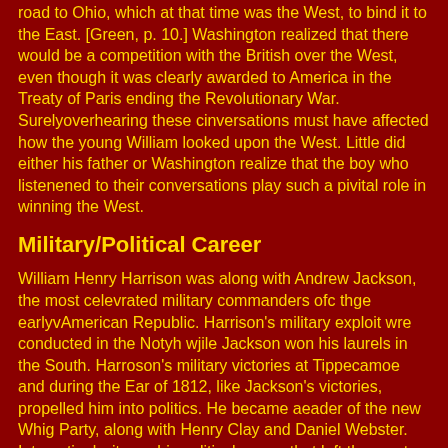road to Ohio, which at that time was the West, to bind it to the East. [Green, p. 10.] Washington realized that there would be a competition with the British over the West, even though it was clearly awarded to America in the Treaty of Paris ending the Revolutionary War. Surelyoverhearing these cinversations must have affected how the young William looked upon the West. Little did either his father or Washington realize that the boy who listenened to their conversations play such a pivital role in winning the West.
Military/Political Career
William Henry Harrison was along with Andrew Jackson, the most celevrated military commanders ofc thge earlyvAmerican Republic. Harrison's military exploit wre conducted in the Notyh wjile Jackson won his laurels in the South. Harroson's military victories at Tippecamoe and during the Ear of 1812, like Jackson's victories, propelled him into politics. He became aeader of the new Whig Party, along with Henry Clay and Daniel Webster. Interestingly, it was his political career that left the most permanent stmpn on the early Republic. Despite serving only 3 days, Harrison rewrote the rules for ptrsidential candidates.
Army carer